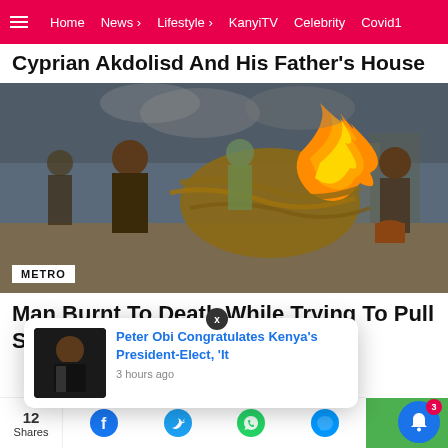Home | News | Lifestyle | KanyiTV | Celebrity | Covid19
Cyprian Akdolisd And His Father's House
[Figure (photo): Men performing a fire ritual/stunt outdoors, with one figure covered in burning straw/grass. Several onlookers in background, smoky atmosphere.]
METRO
Man Burnt To Death While Trying To Pull Stunt
[Figure (screenshot): Notification popup showing Peter Obi news with thumbnail image. Headline: Peter Obi Congratulates Kenya's President-Elect, 'It. Time: 3 hours ago. Close button with X.]
Peter Obi Congratulates Kenya's President-Elect, 'It
3 hours ago
12 Shares | Facebook | Twitter | WhatsApp | Messenger